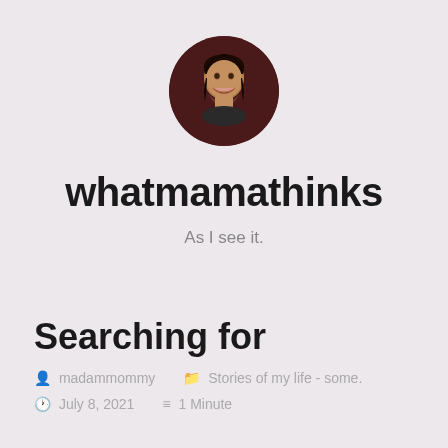[Figure (photo): Circular profile photo of a woman smiling, with dark background]
whatmamathinks
As I see it.
Searching for
madammommy   Stories of my life - some.
July 8, 2021   1 Minute